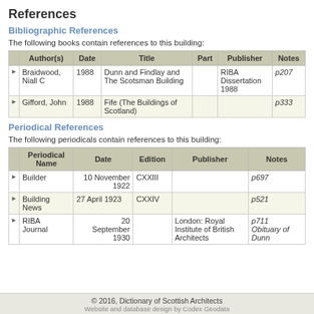References
Bibliographic References
The following books contain references to this building:
|  | Author(s) | Date | Title | Part | Publisher | Notes |
| --- | --- | --- | --- | --- | --- | --- |
| ▶ | Braidwood, Niall C | 1988 | Dunn and Findlay and The Scotsman Building |  | RIBA Dissertation 1988 | p207 |
| ▶ | Gifford, John | 1988 | Fife (The Buildings of Scotland) |  |  | p333 |
Periodical References
The following periodicals contain references to this building:
|  | Periodical Name | Date | Edition | Publisher | Notes |
| --- | --- | --- | --- | --- | --- |
| ▶ | Builder | 10 November 1922 | CXXIII |  | p697 |
| ▶ | Building News | 27 April 1923 | CXXIV |  | p521 |
| ▶ | RIBA Journal | 20 September 1930 |  | London: Royal Institute of British Architects | p711 Obituary of Dunn |
© 2016, Dictionary of Scottish Architects
Website and database design by Codex Geodata